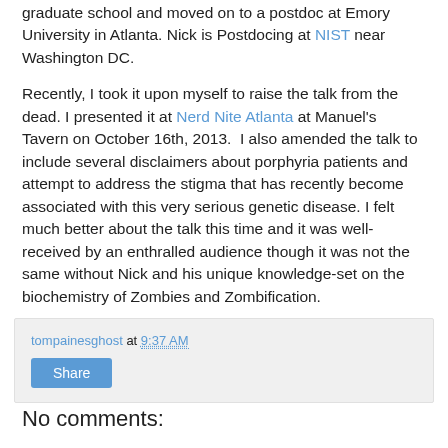graduate school and moved on to a postdoc at Emory University in Atlanta. Nick is Postdocing at NIST near Washington DC.
Recently, I took it upon myself to raise the talk from the dead. I presented it at Nerd Nite Atlanta at Manuel's Tavern on October 16th, 2013. I also amended the talk to include several disclaimers about porphyria patients and attempt to address the stigma that has recently become associated with this very serious genetic disease. I felt much better about the talk this time and it was well-received by an enthralled audience though it was not the same without Nick and his unique knowledge-set on the biochemistry of Zombies and Zombification.
tompainesghost at 9:37 AM
Share
No comments: